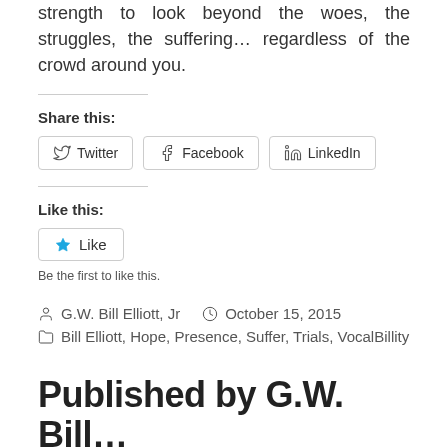strength to look beyond the woes, the struggles, the suffering... regardless of the crowd around you.
Share this:
[Figure (other): Social share buttons: Twitter, Facebook, LinkedIn]
Like this:
[Figure (other): Like button with star icon]
Be the first to like this.
G.W. Bill Elliott, Jr   October 15, 2015
Bill Elliott, Hope, Presence, Suffer, Trials, VocalBillity
Published by G.W. Bill…